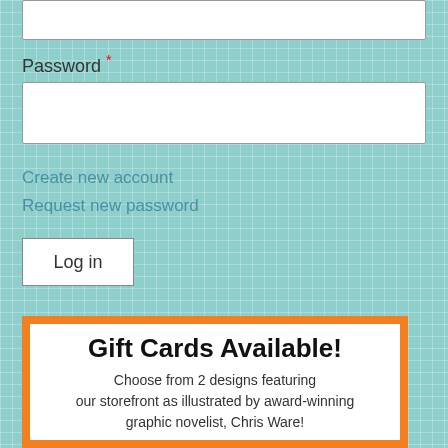[Figure (screenshot): Top portion of a web login form showing an empty text input box (partially visible at top)]
Password *
[Figure (screenshot): Password input field — empty white text box with border]
Create new account
Request new password
[Figure (screenshot): Log in button — white rectangle with border and 'Log in' text]
[Figure (illustration): Gift card advertisement panel with orange decorative border. Title reads 'Gift Cards Available!' with subtitle 'Choose from 2 designs featuring our storefront as illustrated by award-winning graphic novelist, Chris Ware!' and two illustrated gift card images below.]